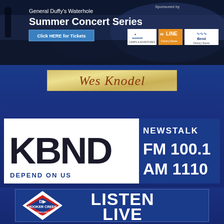[Figure (infographic): General Duffy's Waterhole Summer Concert Series banner ad with crowd background, ticket button, and sponsor logos (Summit, HiLine, Bend Factory Stores)]
[Figure (logo): Wes Knodel cursive script logo on golden/tan background]
[Figure (logo): KBND Newstalk FM 100.1 AM 1110 Depend On Us radio station logo box]
[Figure (infographic): Hooker Creek Construction Materials logo with Listen Live text on blue background]